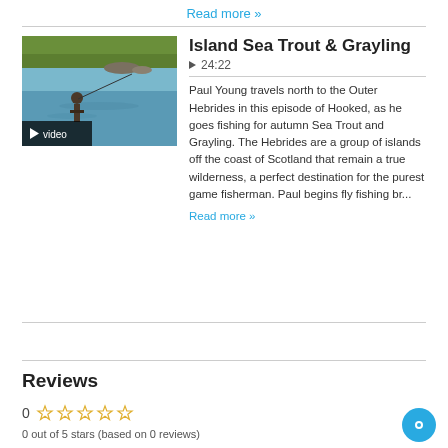Read more »
[Figure (photo): A person fly fishing in shallow water near a rocky shoreline with green hills in the background. A video badge overlay reads 'video'.]
Island Sea Trout & Grayling
▶ 24:22
Paul Young travels north to the Outer Hebrides in this episode of Hooked, as he goes fishing for autumn Sea Trout and Grayling. The Hebrides are a group of islands off the coast of Scotland that remain a true wilderness, a perfect destination for the purest game fisherman. Paul begins fly fishing br...
Read more »
Reviews
0 ☆☆☆☆☆
0 out of 5 stars (based on 0 reviews)